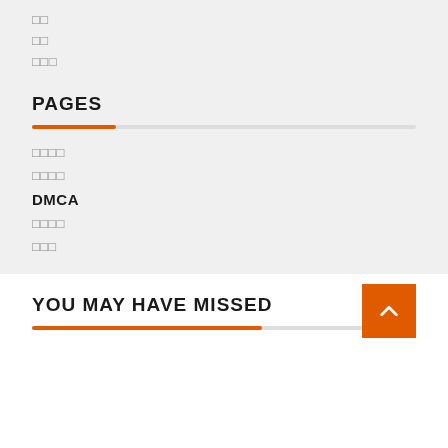□□
□□
□□□
PAGES
□□□□
□□□□
DMCA
□□□□
□□□
YOU MAY HAVE MISSED